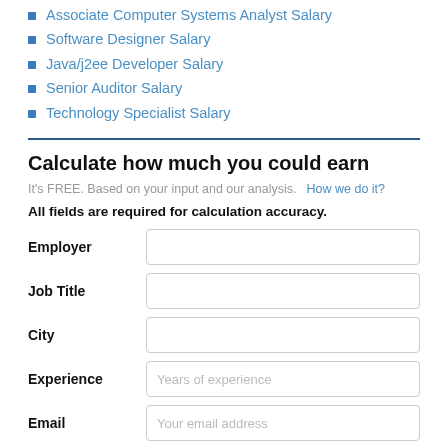Associate Computer Systems Analyst Salary
Software Designer Salary
Java/j2ee Developer Salary
Senior Auditor Salary
Technology Specialist Salary
Calculate how much you could earn
It's FREE. Based on your input and our analysis.    How we do it?
All fields are required for calculation accuracy.
Employer
Job Title
City
Experience
Email